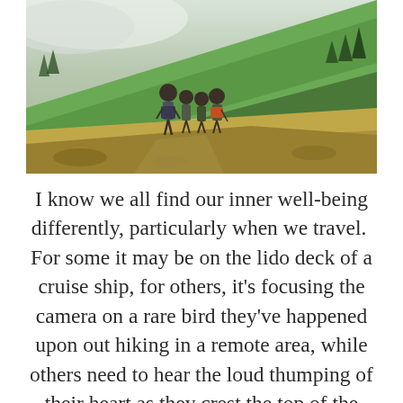[Figure (photo): A group of hikers with backpacks and trekking poles standing on a mountain trail, looking up a steep green hillside. Misty clouds and evergreen trees visible in the background.]
I know we all find our inner well-being differently, particularly when we travel.  For some it may be on the lido deck of a cruise ship, for others, it's focusing the camera on a rare bird they've happened upon out hiking in a remote area, while others need to hear the loud thumping of their heart as they crest the top of the ridge.